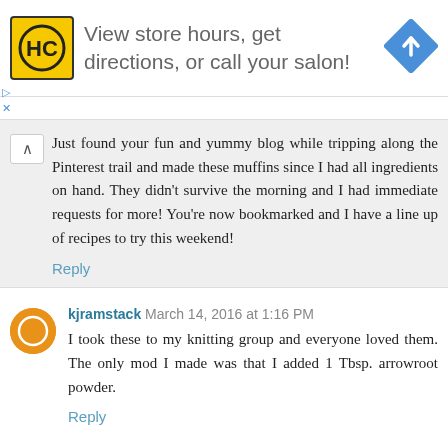[Figure (logo): HC store/salon advertisement banner with yellow HC logo on left, navigation arrow icon on right, text 'View store hours, get directions, or call your salon!']
Just found your fun and yummy blog while tripping along the Pinterest trail and made these muffins since I had all ingredients on hand. They didn't survive the morning and I had immediate requests for more! You're now bookmarked and I have a line up of recipes to try this weekend!
Reply
kjramstack March 14, 2016 at 1:16 PM
I took these to my knitting group and everyone loved them. The only mod I made was that I added 1 Tbsp. arrowroot powder.
Reply